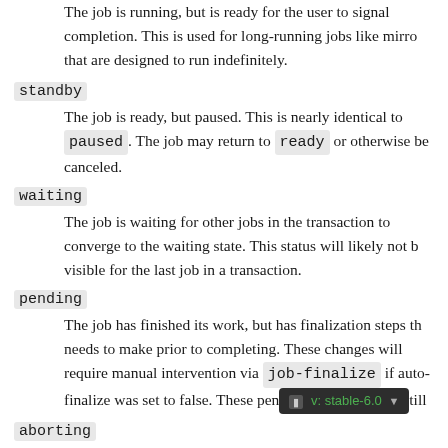The job is running, but is ready for the user to signal completion. This is used for long-running jobs like mirrors that are designed to run indefinitely.
standby
The job is ready, but paused. This is nearly identical to paused. The job may return to ready or otherwise be canceled.
waiting
The job is waiting for other jobs in the transaction to converge to the waiting state. This status will likely not be visible for the last job in a transaction.
pending
The job has finished its work, but has finalization steps that needs to make prior to completing. These changes will require manual intervention via job-finalize if auto-finalize was set to false. These pen... still
aborting
The job is in the process of being aborted, and will finish